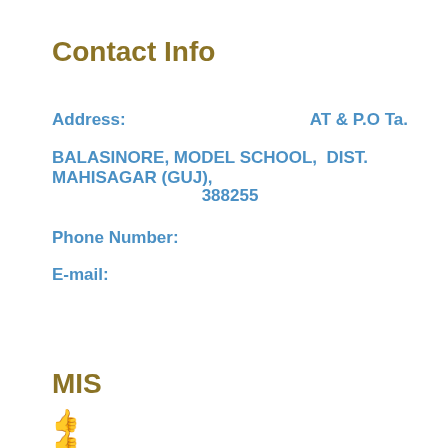Contact Info
Address:    AT & P.O Ta.
BALASINORE, MODEL SCHOOL,  DIST. MAHISAGAR (GUJ),
388255
Phone Number:
E-mail:
MIS
👍
👍